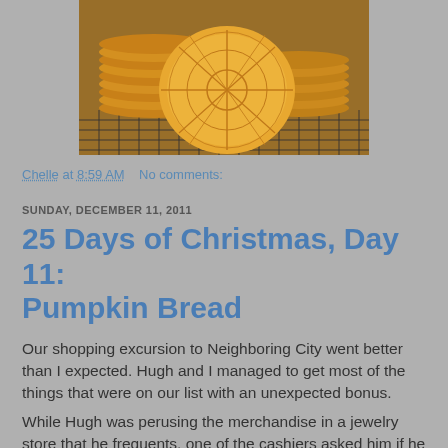[Figure (photo): Photo of golden pumpkin-shaped waffle/pizzelle cookies stacked on a wire cooling rack]
Chelle at 8:59 AM    No comments:
SUNDAY, DECEMBER 11, 2011
25 Days of Christmas, Day 11: Pumpkin Bread
Our shopping excursion to Neighboring City went better than I expected. Hugh and I managed to get most of the things that were on our list with an unexpected bonus.
While Hugh was perusing the merchandise in a jewelry store that he frequents, one of the cashiers asked him if he was interested in purchasing a teddy bear, proceeds of which go to support St. Jude's hospital. Because they are dear for